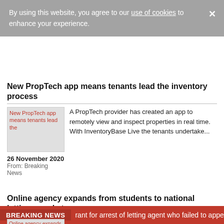By using this website, you agree to our use of cookies to enhance your experience.
New PropTech app means tenants lead the inventory process
[Figure (photo): Thumbnail image for PropTech app article]
A PropTech provider has created an app to remotely view and inspect properties in real time.  With InventoryBase Live the tenants undertake...
26 November 2020
From: Breaking News
Online agency expands from students to national lettings market
[Figure (photo): Thumbnail images for Online agency expands article and MoverPal]
Online lettings company Monkey vs Owl - also known as MOVO - has expanded from a regional and mostly student service...
BREAKING NEWS  rant for arrest of letting agent who failed to appear